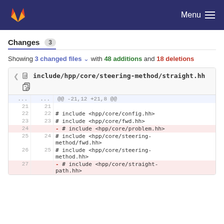GitLab — Menu
Changes 3
Showing 3 changed files with 48 additions and 18 deletions
| old | new | code |
| --- | --- | --- |
| ... | ... | @@ -21,12 +21,8 @@ |
| 21 | 21 |  |
| 22 | 22 | # include <hpp/core/config.hh> |
| 23 | 23 | # include <hpp/core/fwd.hh> |
| 24 |  | - # include <hpp/core/problem.hh> |
| 25 | 24 | # include <hpp/core/steering-method/fwd.hh> |
| 26 | 25 | # include <hpp/core/steering-method.hh> |
| 27 |  | - # include <hpp/core/straight-path.hh> |